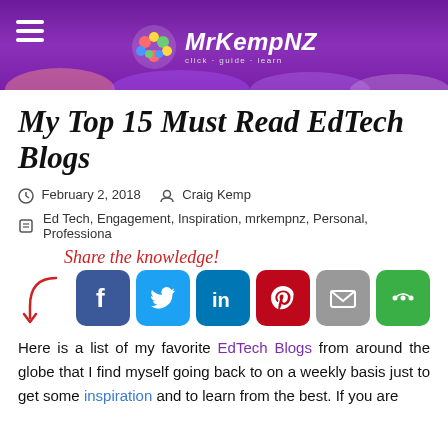MrKempNZ
My Top 15 Must Read EdTech Blogs
February 2, 2018   Craig Kemp
Ed Tech, Engagement, Inspiration, mrkempnz, Personal, Professiona
[Figure (infographic): Share the knowledge! text with arrow pointing to social sharing buttons: Facebook, Twitter, LinkedIn, Pinterest, Email, More options]
Here is a list of my favorite EdTech Blogs from around the globe that I find myself going back to on a weekly basis just to get some inspiration and to learn from the best. If you are